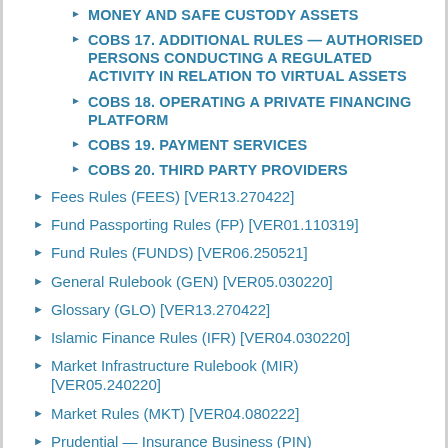MONEY AND SAFE CUSTODY ASSETS
COBS 17. ADDITIONAL RULES — AUTHORISED PERSONS CONDUCTING A REGULATED ACTIVITY IN RELATION TO VIRTUAL ASSETS
COBS 18. OPERATING A PRIVATE FINANCING PLATFORM
COBS 19. PAYMENT SERVICES
COBS 20. THIRD PARTY PROVIDERS
Fees Rules (FEES) [VER13.270422]
Fund Passporting Rules (FP) [VER01.110319]
Fund Rules (FUNDS) [VER06.250521]
General Rulebook (GEN) [VER05.030220]
Glossary (GLO) [VER13.270422]
Islamic Finance Rules (IFR) [VER04.030220]
Market Infrastructure Rulebook (MIR) [VER05.240220]
Market Rules (MKT) [VER04.080222]
Prudential — Insurance Business (PIN)